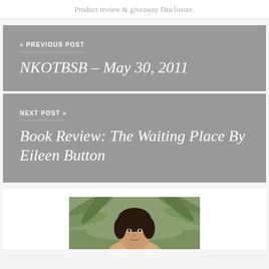Product review & giveaway Disclosure.
« PREVIOUS POST
NKOTBSB – May 30, 2011
NEXT POST »
Book Review: The Waiting Place By Eileen Button
[Figure (photo): A person with dark hair photographed outdoors with palm fronds in the background.]